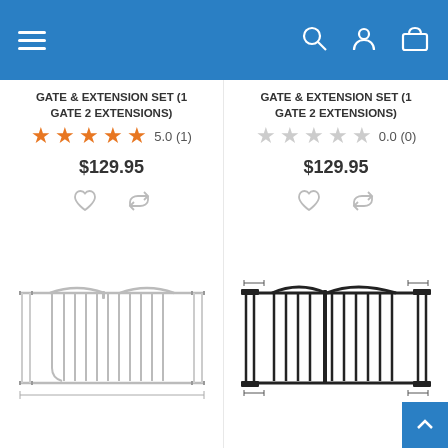[Figure (screenshot): Mobile app navigation bar with hamburger menu, search icon, user icon, and cart icon on blue background]
GATE & EXTENSION SET (1 GATE 2 EXTENSIONS)
5.0 (1)
$129.95
GATE & EXTENSION SET (1 GATE 2 EXTENSIONS)
0.0 (0)
$129.95
[Figure (illustration): White metal baby gate with extensions, line drawing style]
[Figure (illustration): Black metal baby gate with extensions, line drawing style]